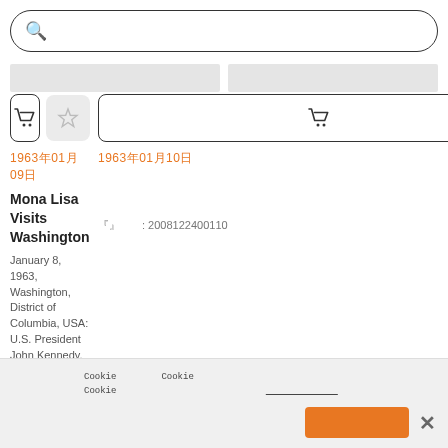[Figure (screenshot): Search bar with magnifying glass icon and placeholder text (Japanese characters)]
[Figure (screenshot): Two product/article cards side by side. Left card: date 1963年01月09日, title 'Mona Lisa Visits Washington', body text in English, ID 2022082109149. Right card: date 1963年01月10日, title in Japanese, body text in Japanese, ID 2008122400110. Each card has a cart button and star/favorite button.]
Cookie notice banner with Japanese text about cookies, accept button, and close button